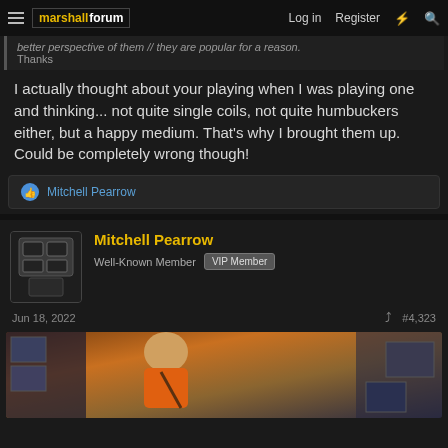Marshall Forum — Log in | Register
better perspective of them // they are popular for a reason. Thanks
I actually thought about your playing when I was playing one and thinking... not quite single coils, not quite humbuckers either, but a happy medium. That's why I brought them up. Could be completely wrong though!
Mitchell Pearrow
Mitchell Pearrow
Well-Known Member  VIP Member
Jun 18, 2022  #4,323
[Figure (photo): Photo of a person wearing an orange shirt, playing guitar, surrounded by posters and equipment]